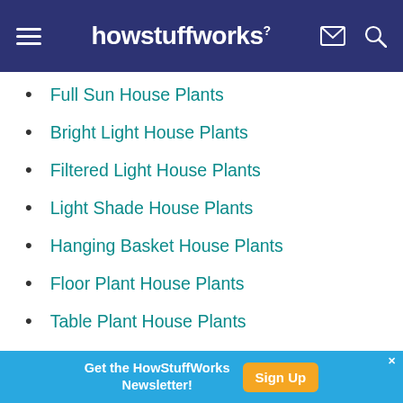howstuffworks
Full Sun House Plants
Bright Light House Plants
Filtered Light House Plants
Light Shade House Plants
Hanging Basket House Plants
Floor Plant House Plants
Table Plant House Plants
Terrarium Plant House Plants
Very Easy House Plants
Easy House Plants
Get the HowStuffWorks Newsletter! Sign Up